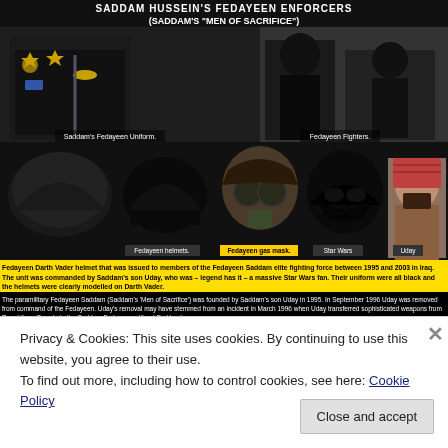SADDAM HUSSEIN'S FEDAYEEN ENFORCERS (SADDAM'S "MEN OF SACRIFICE")
[Figure (photo): Composite image showing Saddam's Fedayeen uniform worn by a soldier on the left, Fedayeen fighters on the right, and a row of helmets including Fedayeen helmets, a Fedayeen gas mask, a Star Wars Darth Vader helmet, and a photo of Uday.]
Fedayeen Darth Vader helmet that was issued to members of the Fedayeen Saddam elite fighting force between 1995 and 2003 in Iraq. The unit was commanded by Saddam's son Uday, who was – legend has it – a massive Star Wars fan. Their uniform were all black and the helmets were clearly modelled on Darth Vader.
The paramilitary Fedayeen Saddam (Saddam's 'Men of Sacrifice') was founded by Saddam's son Uday in 1995. In September 1996 Uday was removed from command of the Fedayeen. Uday's removal may have stemmed from an incident in March 1996 when Uday transferred sophisticated weapons from Republican Guards to the Saddam Fedayeen without Saddam's
Privacy & Cookies: This site uses cookies. By continuing to use this website, you agree to their use.
To find out more, including how to control cookies, see here: Cookie Policy
Close and accept